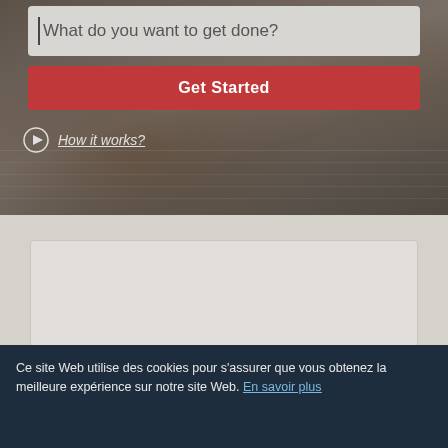[Figure (screenshot): Hero section with dark photo background showing hands typing on a keyboard with tattooed arms and a watch visible. Contains a search input box, a red Get Started button, and a How it works? link with play icon.]
What do you want to get done?
Get Started
How it works?
[Figure (screenshot): Light gray section with a rounded rectangle card/box placeholder in a lighter gray tone]
Ce site Web utilise des cookies pour s'assurer que vous obtenez la meilleure expérience sur notre site Web. En savoir plus